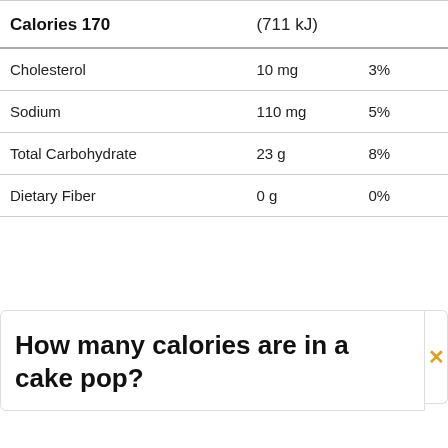|  |  |  |
| --- | --- | --- |
| Calories 170 | (711 kJ) |  |
| Cholesterol | 10 mg | 3% |
| Sodium | 110 mg | 5% |
| Total Carbohydrate | 23 g | 8% |
| Dietary Fiber | 0 g | 0% |
How many calories are in a cake pop?